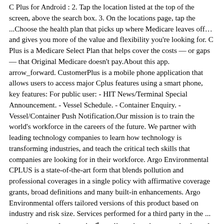C Plus for Android : 2. Tap the location listed at the top of the screen, above the search box. 3. On the locations page, tap the ...Choose the health plan that picks up where Medicare leaves off…and gives you more of the value and flexibility you're looking for. C Plus is a Medicare Select Plan that helps cover the costs — or gaps — that Original Medicare doesn't pay.About this app. arrow_forward. CustomerPlus is a mobile phone application that allows users to access major Cplus features using a smart phone, key features: For public user: - HIT News/Terminal Special Announcement. - Vessel Schedule. - Container Enquiry. - Vessel/Container Push Notification.Our mission is to train the world's workforce in the careers of the future. We partner with leading technology companies to learn how technology is transforming industries, and teach the critical tech skills that companies are looking for in their workforce. Argo Environmental CPLUS is a state-of-the-art form that blends pollution and professional coverages in a single policy with affirmative coverage grants, broad definitions and many built-in enhancements. Argo Environmental offers tailored versions of this product based on industry and risk size. Services performed for a third party in the ...
ترکیبی از دانش و زیبایی را در قالب رنگ‌های خیره کننده و cplus ویژگی‌های منحصر به فرد در اختیار شما قرار می‌دهد. کویرچوب
Our mission is to train the world's workforce in the careers of the future. We partner with leading technology companies to learn how technology is transforming industries, and teach the critical tech